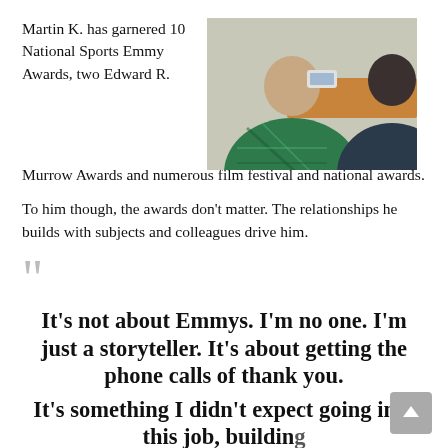Martin K. has garnered 10 National Sports Emmy Awards, two Edward R. Murrow Awards and numerous film festival and national awards.
[Figure (photo): Two people seen from behind, one wearing a green plaid shirt, sitting at a table. A phone and orange desk surface visible.]
To him though, the awards don't matter. The relationships he builds with subjects and colleagues drive him.
It's not about Emmys. I'm no one. I'm just a storyteller. It's about getting the phone calls of thank you.
It's something I didn't expect going into this job, building...